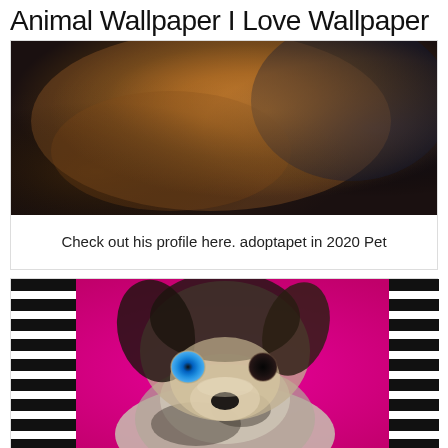Animal Wallpaper I Love Wallpaper
[Figure (photo): Blurry close-up photo of a dark brown dog, cropped, showing fur and collar area against a dark background]
Check out his profile here. adoptapet in 2020 Pet
[Figure (photo): Close-up photo of a small Chihuahua puppy with mismatched eyes (one blue, one dark), black and tan merle coat, against a bright pink background with black and white striped fabric on the sides]